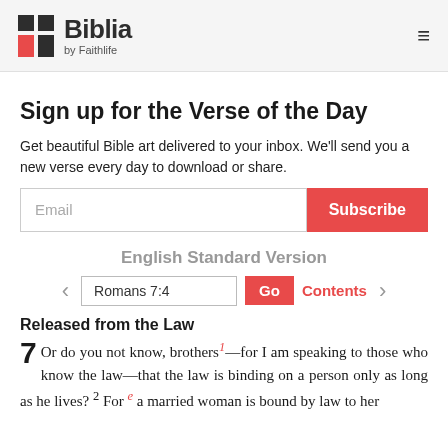Biblia by Faithlife
Sign up for the Verse of the Day
Get beautiful Bible art delivered to your inbox. We'll send you a new verse every day to download or share.
Email [input field] Subscribe [button]
English Standard Version
< Romans 7:4 [input] Go Contents >
Released from the Law
7 Or do you not know, brothers1—for I am speaking to those who know the law—that the law is binding on a person only as long as he lives? 2 For e a married woman is bound by law to her